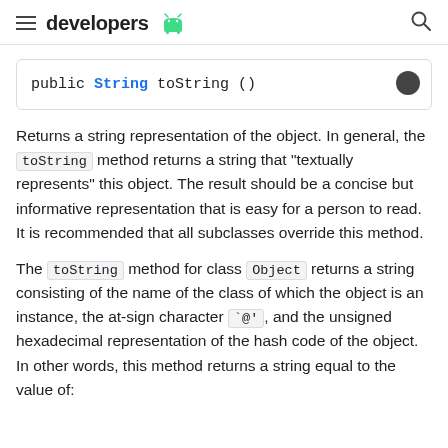developers
[Figure (screenshot): Code block showing: public String toString ()]
Returns a string representation of the object. In general, the toString method returns a string that "textually represents" this object. The result should be a concise but informative representation that is easy for a person to read. It is recommended that all subclasses override this method.
The toString method for class Object returns a string consisting of the name of the class of which the object is an instance, the at-sign character `@', and the unsigned hexadecimal representation of the hash code of the object. In other words, this method returns a string equal to the value of: